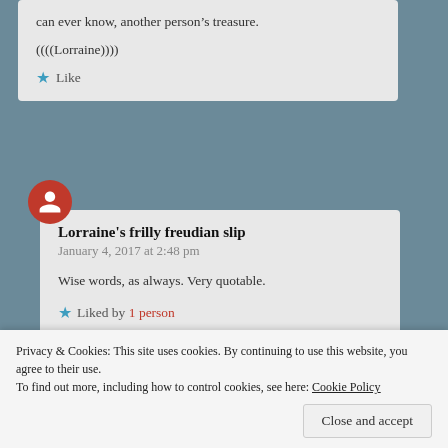can ever know, another person’s treasure.
((((Lorraine))))
Like
Lorraine's frilly freudian slip
January 4, 2017 at 2:48 pm
Wise words, as always. Very quotable.
Liked by 1 person
wordwitch88
Privacy & Cookies: This site uses cookies. By continuing to use this website, you agree to their use. To find out more, including how to control cookies, see here: Cookie Policy
Close and accept